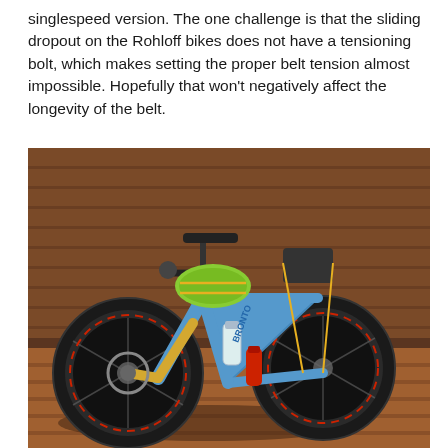singlespeed version.  The one challenge is that the sliding dropout on the Rohloff bikes does not have a tensioning bolt, which makes setting the proper belt tension almost impossible.  Hopefully that won't negatively affect the longevity of the belt.
[Figure (photo): A blue mountain bike loaded with gear (green sleeping bag roll on handlebars, water bottles in frame) leaning against a wooden wall/fence, parked on a wooden deck. The bike has black knobby tires, disc brakes, and yellow bungee cords securing luggage.]